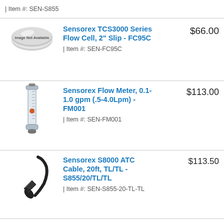| Item #: SEN-S855
[Figure (illustration): Image Not Available placeholder graphic - gray disc with text]
Sensorex TCS3000 Series Flow Cell, 2" Slip - FC95C
$66.00
| Item #: SEN-FC95C
[Figure (photo): Sensorex flow meter device, vertical tube with fittings]
Sensorex Flow Meter, 0.1-1.0 gpm (.5-4.0Lpm) - FM001
$113.00
| Item #: SEN-FM001
[Figure (photo): Sensorex S8000 ATC Cable connector, black angled plug]
Sensorex S8000 ATC Cable, 20ft, TL/TL - S855/20/TL/TL
$113.50
| Item #: SEN-S855-20-TL-TL